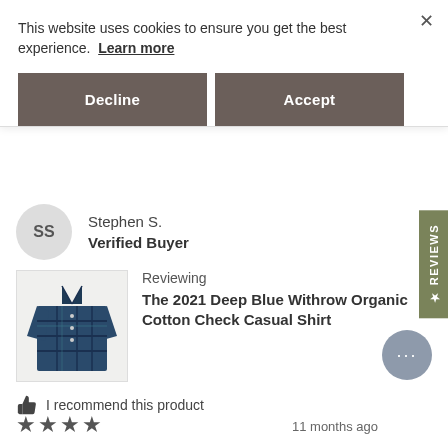This website uses cookies to ensure you get the best experience. Learn more
Decline
Accept
Stephen S.
Verified Buyer
Reviewing
The 2021 Deep Blue Withrow Organic Cotton Check Casual Shirt
I recommend this product
11 months ago